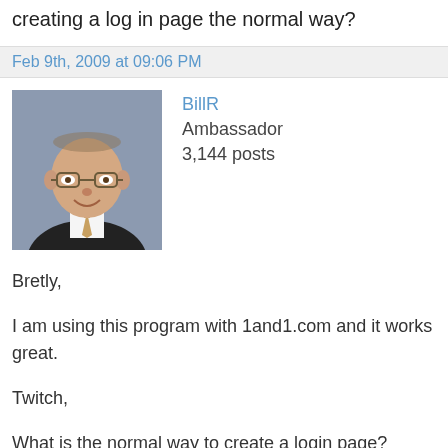creating a log in page the normal way?
Feb 9th, 2009 at 09:06 PM
[Figure (photo): Profile photo of user BillR — middle-aged man with glasses, wearing a dark suit and tie, smiling]
BillR
Ambassador
3,144 posts
Bretly,
I am using this program with 1and1.com and it works great.
Twitch,
What is the normal way to create a login page? There are many different programs that create login pages, but I don't know how they work, so I do not know how secure